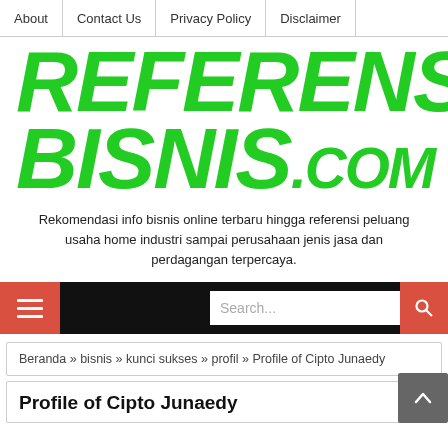About | Contact Us | Privacy Policy | Disclaimer
[Figure (logo): REFERENSI BISNIS.COM logo in bold italic green text]
Rekomendasi info bisnis online terbaru hingga referensi peluang usaha home industri sampai perusahaan jenis jasa dan perdagangan terpercaya.
[Figure (screenshot): Black navigation bar with hamburger menu icon (red background), search field, and red search button]
Beranda » bisnis » kunci sukses » profil » Profile of Cipto Junaedy
Profile of Cipto Junaedy